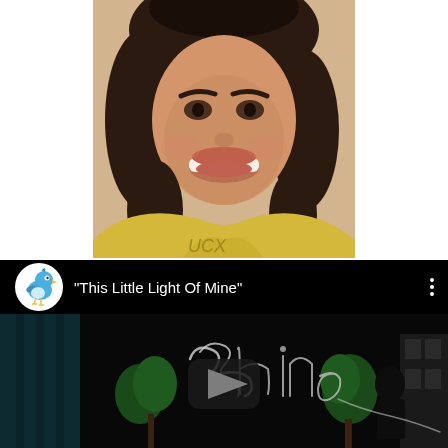[Figure (photo): Portrait photo of a woman with dark curly hair, smiling, wearing a yellow top. The photo shows from shoulders up, cropped at the top of the head showing her smile and hair.]
[Figure (screenshot): YouTube video thumbnail/player showing a video titled 'This Little Light Of Mine' with a blue bird channel logo on the left and a dark animated scene with glowing cursive text reading 'Shine' and a YouTube play button overlay in the center.]